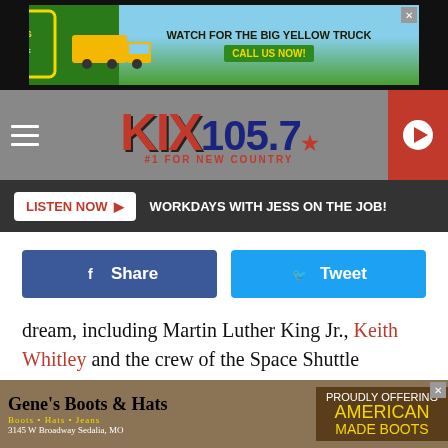[Figure (screenshot): Top advertisement banner for a gas company with yellow truck: WATCH FOR THE BIG YELLOW TRUCK / CALL US NOW!]
[Figure (logo): KIX 105.7 #1 FOR NEW COUNTRY radio station logo with navigation bar and play button]
LISTEN NOW ▶   WORKDAYS WITH JESS ON THE JOB!
[Figure (screenshot): Facebook Share button (blue) and Twitter Tweet button (light blue)]
dream, including Martin Luther King Jr., Keith Whitley and the crew of the Space Shuttle Challenger.
ADVERTISEMENT
[Figure (screenshot): Bottom advertisement for Gene's Boots & Hats, 3145 W Broadway Sedalia, MO — Proudly Offering American Made Boots]